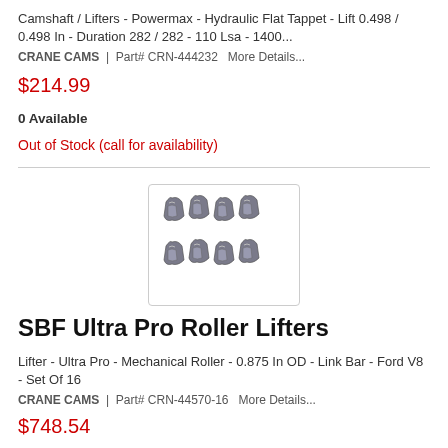Camshaft / Lifters - Powermax - Hydraulic Flat Tappet - Lift 0.498 / 0.498 In - Duration 282 / 282 - 110 Lsa - 1400...
CRANE CAMS  |  Part# CRN-444232   More Details...
$214.99
0 Available
Out of Stock (call for availability)
[Figure (photo): Photo of SBF Ultra Pro Roller Lifters — two rows of four roller lifters]
SBF Ultra Pro Roller Lifters
Lifter - Ultra Pro - Mechanical Roller - 0.875 In OD - Link Bar - Ford V8 - Set Of 16
CRANE CAMS  |  Part# CRN-44570-16   More Details...
$748.54
0 Available
Out of Stock (call for availability)